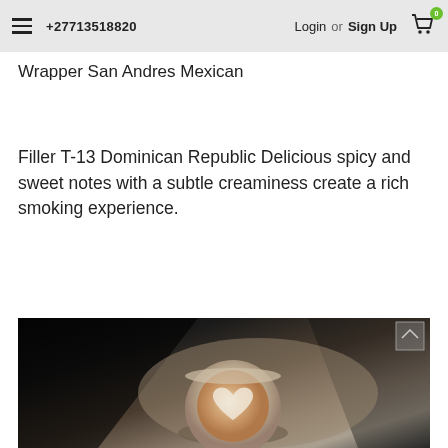+27713518820  Login or Sign Up  0
Wrapper San Andres Mexican
Filler T-13 Dominican Republic Delicious spicy and sweet notes with a subtle creaminess create a rich smoking experience.
[Figure (photo): Photo of a coffee cup with latte art on a dark surface, viewed from above with dramatic lighting and shadows]